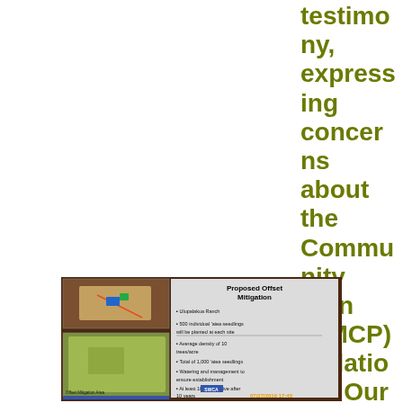testimony, expressing concerns about the Community Plan (KMCP) violations. Our written testimony is
[Figure (photo): Photograph of a projected presentation slide titled 'Proposed Offset Mitigation' showing a map of Ulupalakua Ranch and bullet points: 500 individual 'aiea seedlings will be planted at each site, Average density of 10 trees/acre, Total of 1,000 'aiea seedlings, Watering and management to ensure establishment, At least 100 trees alive after 10 years. Timestamp 07/27/2016 17:45 visible. SWCA logo at bottom.]